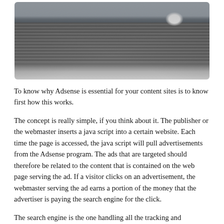[Figure (photo): Black and white photograph of a wooden dock/pier extending over water, with a small white dog running on it, viewed from a low perspective showing the wooden planks receding toward the horizon.]
To know why Adsense is essential for your content sites is to know first how this works.
The concept is really simple, if you think about it. The publisher or the webmaster inserts a java script into a certain website. Each time the page is accessed, the java script will pull advertisements from the Adsense program. The ads that are targeted should therefore be related to the content that is contained on the web page serving the ad. If a visitor clicks on an advertisement, the webmaster serving the ad earns a portion of the money that the advertiser is paying the search engine for the click.
The search engine is the one handling all the tracking and payments, providing an easy way for webmasters to display content-sensitive and targeted ads without having to solicit advertisers, collect funds, monitor the clicks and statistics which could be a time-consuming task in itself.